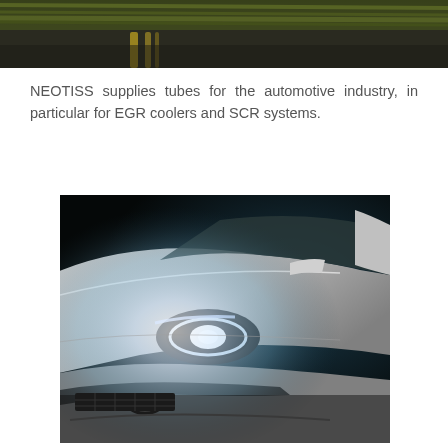[Figure (photo): Blurred road scene with yellow lane markings, motion blur effect, top banner image]
NEOTISS supplies tubes for the automotive industry, in particular for EGR coolers and SCR systems.
[Figure (photo): Close-up front view of a white car with bright LED headlights glowing against a dark background]